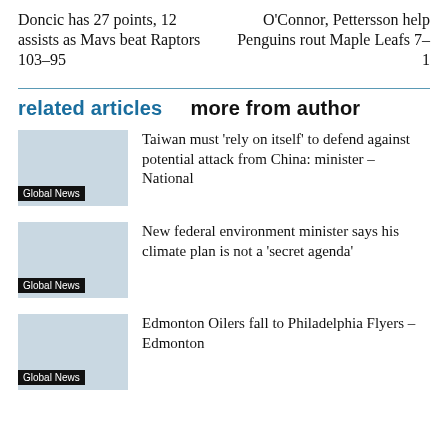Doncic has 27 points, 12 assists as Mavs beat Raptors 103-95
O'Connor, Pettersson help Penguins rout Maple Leafs 7-1
related articles   more from author
Taiwan must 'rely on itself' to defend against potential attack from China: minister – National
New federal environment minister says his climate plan is not a 'secret agenda'
Edmonton Oilers fall to Philadelphia Flyers – Edmonton